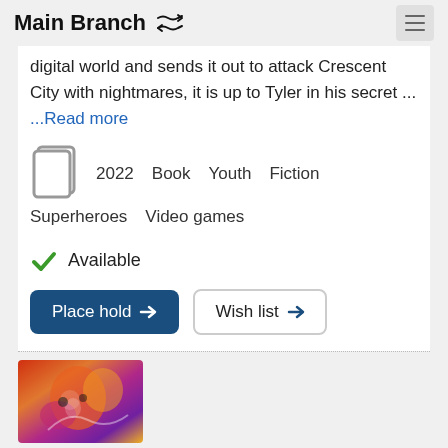Main Branch
digital world and sends it out to attack Crescent City with nightmares, it is up to Tyler in his secret ...
...Read more
2022  Book  Youth  Fiction  Superheroes  Video games
Available
Place hold
Wish list
[Figure (illustration): Colorful illustrated book cover with fantasy/action art in red, orange, purple tones]